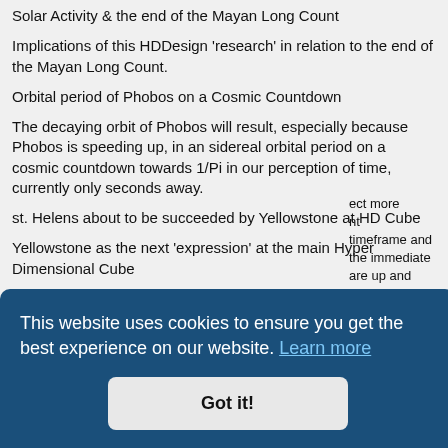Solar Activity & the end of the Mayan Long Count
Implications of this HDDesign 'research' in relation to the end of the Mayan Long Count.
Orbital period of Phobos on a Cosmic Countdown
The decaying orbit of Phobos will result, especially because Phobos is speeding up, in an sidereal orbital period on a cosmic countdown towards 1/Pi in our perception of time, currently only seconds away.
st. Helens about to be succeeded by Yellowstone at HD Cube
Yellowstone as the next 'expression' at the main Hyper Dimensional Cube location on earth.
...ect more
...nt
timeframe and the immediate are up and running and can be found at
HPP.pic.from. The entire dis... ...ated. ...sted ...fered
This website uses cookies to ensure you get the best experience on our website. Learn more
Got it!